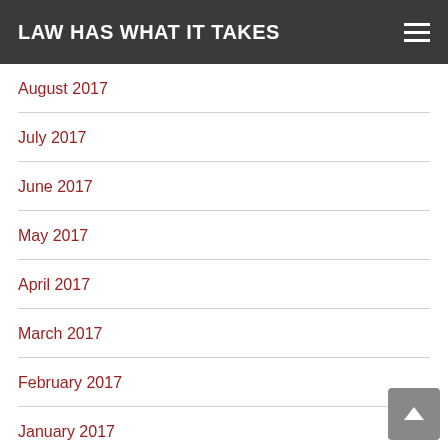LAW HAS WHAT IT TAKES
August 2017
July 2017
June 2017
May 2017
April 2017
March 2017
February 2017
January 2017
Categories
Attorney